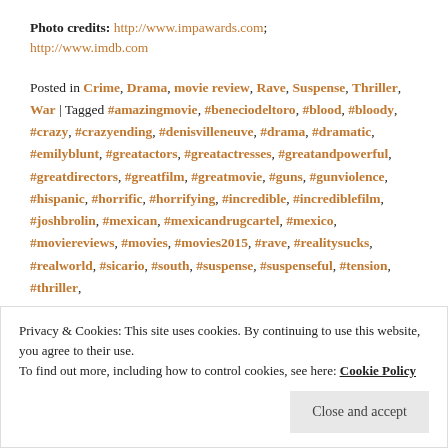Photo credits: http://www.impawards.com; http://www.imdb.com
Posted in Crime, Drama, movie review, Rave, Suspense, Thriller, War | Tagged #amazingmovie, #beneciodeltoro, #blood, #bloody, #crazy, #crazyending, #denisvilleneuve, #drama, #dramatic, #emilyblunt, #greatactors, #greatactresses, #greatandpowerful, #greatdirectors, #greatfilm, #greatmovie, #guns, #gunviolence, #hispanic, #horrific, #horrifying, #incredible, #incrediblefilm, #joshbrolin, #mexican, #mexicandrugcartel, #mexico, #moviereviews, #movies, #movies2015, #rave, #realitysucks, #realworld, #sicario, #south, #suspense, #suspenseful, #tension, #thriller,
Privacy & Cookies: This site uses cookies. By continuing to use this website, you agree to their use.
To find out more, including how to control cookies, see here: Cookie Policy